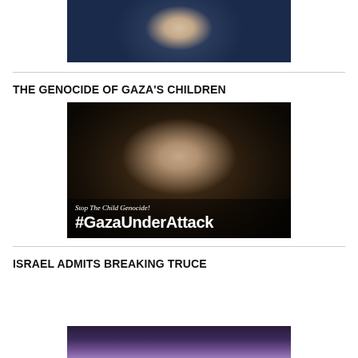[Figure (photo): Close-up photo of a child's face looking directly at camera, dark background with blue tones]
THE GENOCIDE OF GAZA'S CHILDREN
[Figure (photo): Dark image of a sleeping or injured child with text overlay: 'Stop The Child Genocide! #GazaUnderAttack']
ISRAEL ADMITS BREAKING TRUCE
[Figure (photo): Partial view of another image at bottom of page, dark purple/red tones]